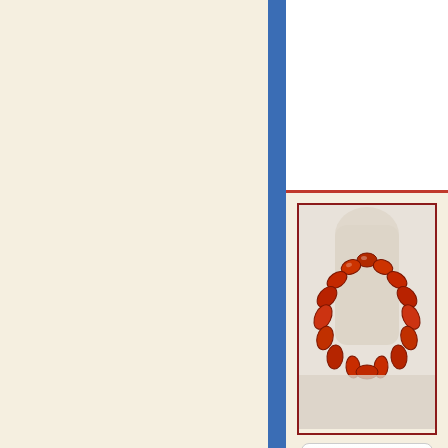[Figure (photo): Left panel with cream/beige background filling about 60% of the page width]
[Figure (photo): Blue vertical bar separating left and right panels]
[Figure (photo): Product card showing a red/orange beaded necklace on a white mannequin bust display, with a red border around the image]
[Figure (photo): Buy Now button with red text and rounded corners]
[Figure (photo): Product card showing three decorative giraffe figurines in a wooden frame display, with a red border around the image]